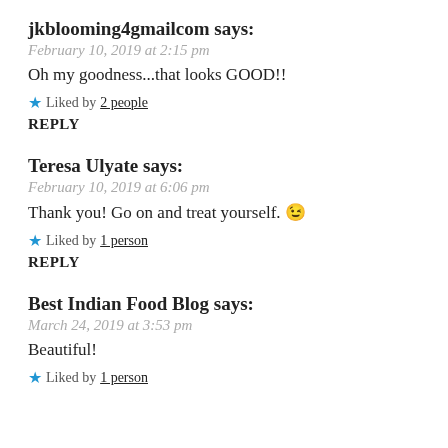jkblooming4gmailcom says:
February 10, 2019 at 2:15 pm
Oh my goodness...that looks GOOD!!
★ Liked by 2 people
REPLY
Teresa Ulyate says:
February 10, 2019 at 6:06 pm
Thank you! Go on and treat yourself. 😉
★ Liked by 1 person
REPLY
Best Indian Food Blog says:
March 24, 2019 at 3:53 pm
Beautiful!
★ Liked by 1 person